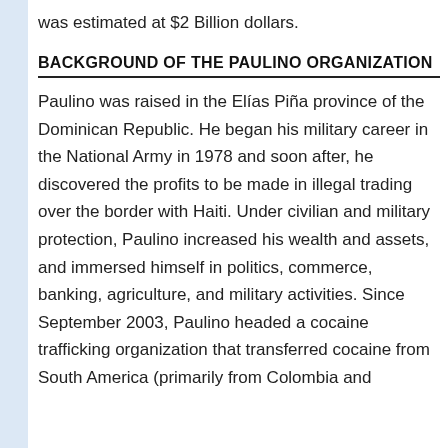was estimated at $2 Billion dollars.
BACKGROUND OF THE PAULINO ORGANIZATION
Paulino was raised in the Elías Piña province of the Dominican Republic. He began his military career in the National Army in 1978 and soon after, he discovered the profits to be made in illegal trading over the border with Haiti. Under civilian and military protection, Paulino increased his wealth and assets, and immersed himself in politics, commerce, banking, agriculture, and military activities. Since September 2003, Paulino headed a cocaine trafficking organization that transferred cocaine from South America (primarily from Colombia and